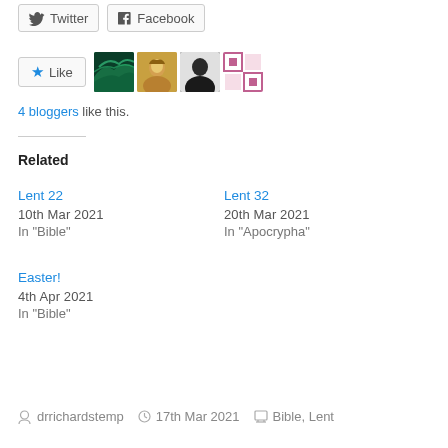[Figure (other): Share buttons: Twitter and Facebook]
[Figure (other): Like button with 4 blogger avatars]
4 bloggers like this.
Related
Lent 22
10th Mar 2021
In "Bible"
Lent 32
20th Mar 2021
In "Apocrypha"
Easter!
4th Apr 2021
In "Bible"
drrichardstemp  17th Mar 2021  Bible, Lent